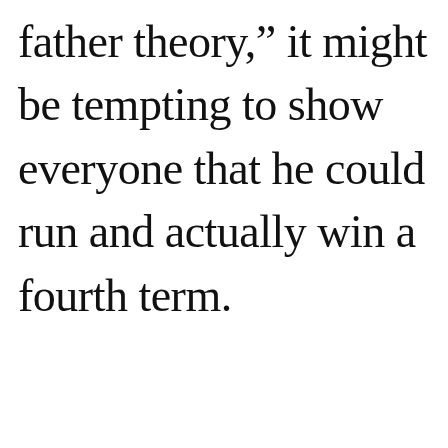father theory,” it might be tempting to show everyone that he could run and actually win a fourth term.